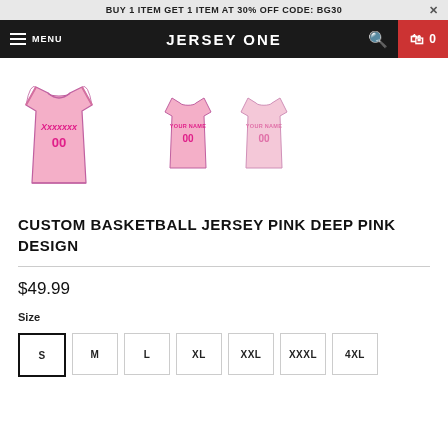BUY 1 ITEM GET 1 ITEM AT 30% OFF CODE: BG30
JERSEY ONE
[Figure (photo): Three views of a custom pink basketball jersey with deep pink text and number 00. Front view on the left (large), back view in center, and back view on right (smaller).]
CUSTOM BASKETBALL JERSEY PINK DEEP PINK DESIGN
$49.99
Size
S
M
L
XL
XXL
XXXL
4XL